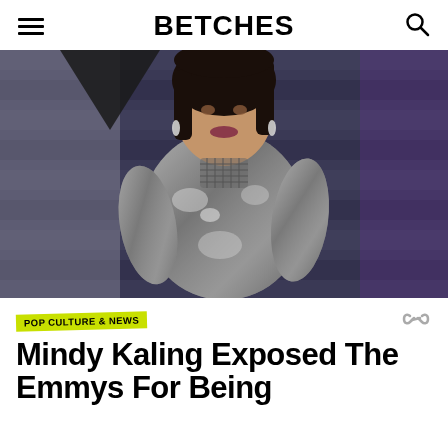BETCHES
[Figure (photo): Photo of Mindy Kaling wearing a silver/metallic long-sleeve dress, posing with hand on hip against a dark striped background with purple lighting accents]
POP CULTURE & NEWS
Mindy Kaling Exposed The Emmys For Being